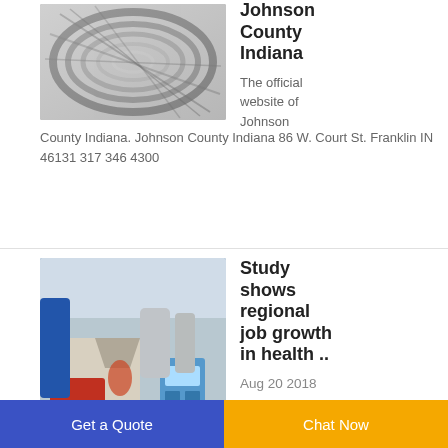[Figure (photo): Black and white photo of coiled metal wires or cables]
Johnson County Indiana
The official website of Johnson County Indiana. Johnson County Indiana 86 W. Court St. Franklin IN 46131 317 346 4300
[Figure (photo): Industrial machinery in a factory setting with red and blue equipment]
Study shows regional job growth in health ..
Aug 20 2018
Get a Quote   Chat Now